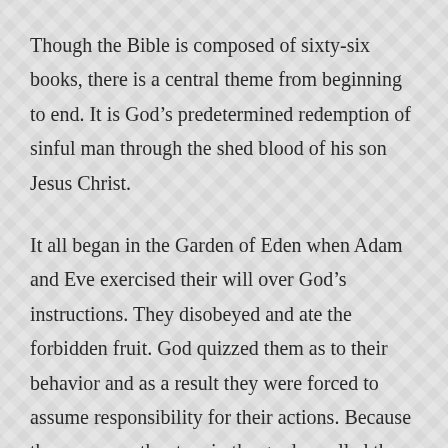Though the Bible is composed of sixty-six books, there is a central theme from beginning to end. It is God’s predetermined redemption of sinful man through the shed blood of his son Jesus Christ.
It all began in the Garden of Eden when Adam and Eve exercised their will over God’s instructions. They disobeyed and ate the forbidden fruit. God quizzed them as to their behavior and as a result they were forced to assume responsibility for their actions. Because there was another tree in the garden called the tree of life, they had to be expelled from the idyllic life they once had so they would not partake of that tree. Angelic guards were